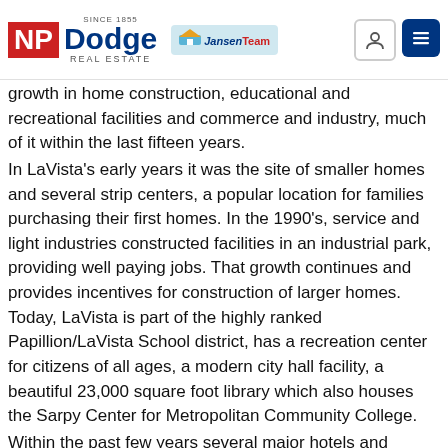NP Dodge Real Estate — Since 1855 — The Jansen Team
growth in home construction, educational and recreational facilities and commerce and industry, much of it within the last fifteen years.
In LaVista's early years it was the site of smaller homes and several strip centers, a popular location for families purchasing their first homes. In the 1990's, service and light industries constructed facilities in an industrial park, providing well paying jobs. That growth continues and provides incentives for construction of larger homes. Today, LaVista is part of the highly ranked Papillion/LaVista School district, has a recreation center for citizens of all ages, a modern city hall facility, a beautiful 23,000 square foot library which also houses the Sarpy Center for Metropolitan Community College.
Within the past few years several major hotels and motels were constructed along the Interstate 80 and Giles Road intersection, one being connected to a popular, new convention center. In the